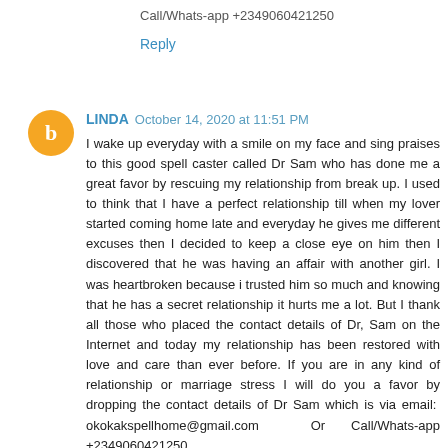Call/Whats-app +2349060421250
Reply
LINDA  October 14, 2020 at 11:51 PM
I wake up everyday with a smile on my face and sing praises to this good spell caster called Dr Sam who has done me a great favor by rescuing my relationship from break up. I used to think that I have a perfect relationship till when my lover started coming home late and everyday he gives me different excuses then I decided to keep a close eye on him then I discovered that he was having an affair with another girl. I was heartbroken because i trusted him so much and knowing that he has a secret relationship it hurts me a lot. But I thank all those who placed the contact details of Dr, Sam on the Internet and today my relationship has been restored with love and care than ever before. If you are in any kind of relationship or marriage stress I will do you a favor by dropping the contact details of Dr Sam which is via email: okokakspellhome@gmail.com Or Call/Whats-app +2349060421250